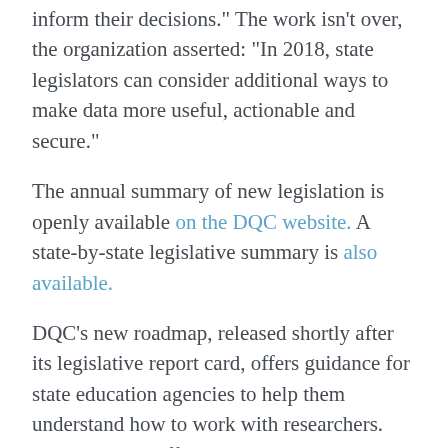inform their decisions." The work isn't over, the organization asserted: "In 2018, state legislators can consider additional ways to make data more useful, actionable and secure."
The annual summary of new legislation is openly available on the DQC website. A state-by-state legislative summary is also available.
DQC's new roadmap, released shortly after its legislative report card, offers guidance for state education agencies to help them understand how to work with researchers. Setting up an "effective" partnership has eight components, the report suggested:
Creating a shared vision on how the research will be set up, conducted and used;